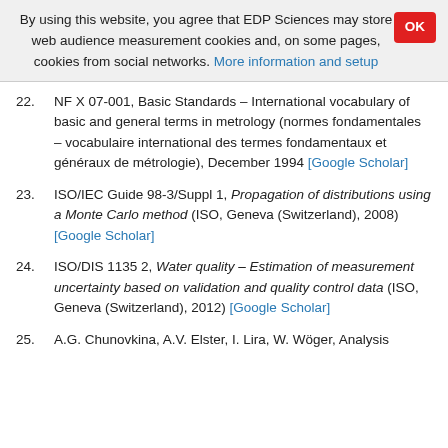By using this website, you agree that EDP Sciences may store web audience measurement cookies and, on some pages, cookies from social networks. More information and setup
22. NF X 07-001, Basic Standards – International vocabulary of basic and general terms in metrology (normes fondamentales – vocabulaire international des termes fondamentaux et généraux de métrologie), December 1994 [Google Scholar]
23. ISO/IEC Guide 98-3/Suppl 1, Propagation of distributions using a Monte Carlo method (ISO, Geneva (Switzerland), 2008) [Google Scholar]
24. ISO/DIS 1135 2, Water quality – Estimation of measurement uncertainty based on validation and quality control data (ISO, Geneva (Switzerland), 2012) [Google Scholar]
25. A.G. Chunovkina, A.V. Elster, I. Lira, W. Wöger, Analysis